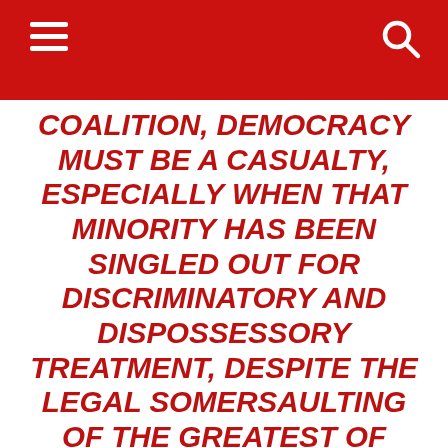COALITION, DEMOCRACY MUST BE A CASUALTY, ESPECIALLY WHEN THAT MINORITY HAS BEEN SINGLED OUT FOR DISCRIMINATORY AND DISPOSSESSORY TREATMENT, DESPITE THE LEGAL SOMERSAULTING OF THE GREATEST OF JEWISH LEGAL MINDS.
– LYNDA BURSTEIN BRAYER